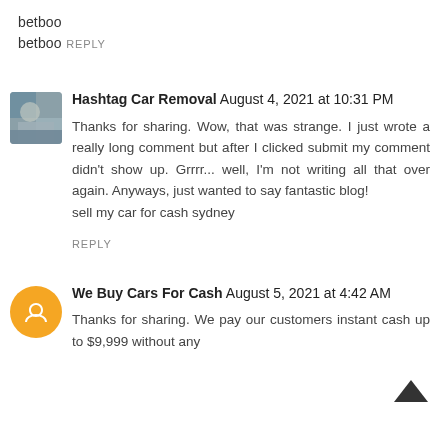betboo
betboo
REPLY
Hashtag Car Removal August 4, 2021 at 10:31 PM
Thanks for sharing. Wow, that was strange. I just wrote a really long comment but after I clicked submit my comment didn't show up. Grrrr... well, I'm not writing all that over again. Anyways, just wanted to say fantastic blog!
sell my car for cash sydney
REPLY
We Buy Cars For Cash August 5, 2021 at 4:42 AM
Thanks for sharing. We pay our customers instant cash up to $9,999 without any